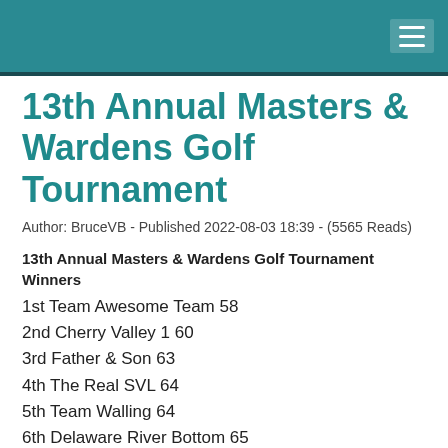13th Annual Masters & Wardens Golf Tournament
Author: BruceVB - Published 2022-08-03 18:39 - (5565 Reads)
13th Annual Masters & Wardens Golf Tournament Winners
1st Team Awesome Team 58
2nd Cherry Valley 1 60
3rd Father & Son 63
4th The Real SVL 64
5th Team Walling 64
6th Delaware River Bottom 65
7th Cherry Valley 3 65
8th Team Havens 66
9th The Beach Boys 66